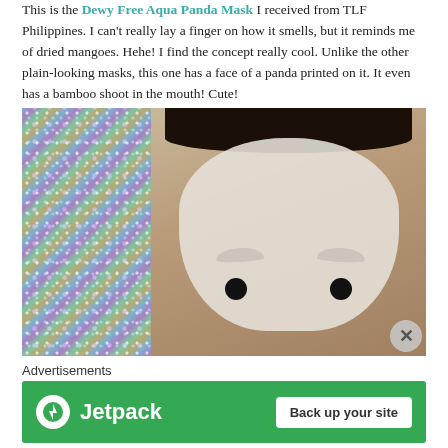This is the Dewy Free Aqua Panda Mask I received from TLF Philippines. I can't really lay a finger on how it smells, but it reminds me of dried mangoes. Hehe! I find the concept really cool. Unlike the other plain-looking masks, this one has a face of a panda printed on it. It even has a bamboo shoot in the mouth! Cute!
[Figure (photo): Person wearing a white sheet face mask. Background on the left has a holographic/iridescent glitter surface. The mask covers most of the face and the person's dark eyes are visible through the eye holes.]
Advertisements
[Figure (other): Jetpack advertisement banner with green background. Shows Jetpack logo on left and 'Back up your site' button on right.]